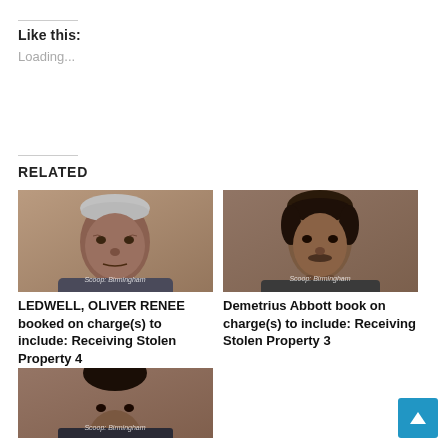Like this:
Loading...
Related
[Figure (photo): Mugshot of LEDWELL, OLIVER RENEE — older man with grey hair, watermark: Scoop: Birmingham]
LEDWELL, OLIVER RENEE booked on charge(s) to include: Receiving Stolen Property 4
[Figure (photo): Mugshot of Demetrius Abbott — young man, watermark: Scoop: Birmingham]
Demetrius Abbott book on charge(s) to include: Receiving Stolen Property 3
[Figure (photo): Partial mugshot of a third individual, watermark: Scoop: Birmingham]